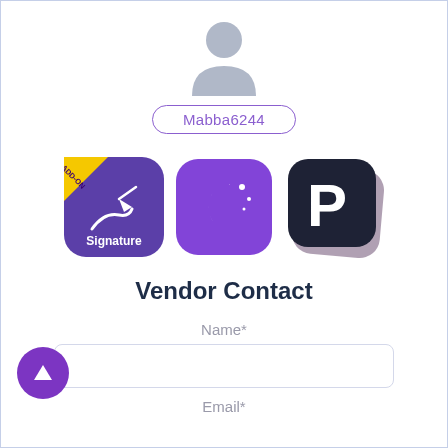[Figure (illustration): Generic grey user avatar silhouette icon]
Mabba6244
[Figure (illustration): Three app icons in a row: Signature add-on (purple with pen), a moon/night mode app (purple with crescent moon), and a PicsArt-like app (dark navy with P logo)]
Vendor Contact
Name*
Email*